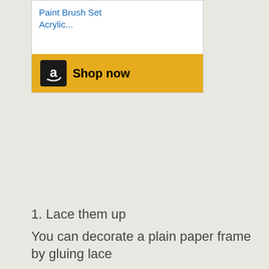[Figure (screenshot): Amazon advertisement widget showing 'Paint Brush Set Acrylic...' product text in blue with a yellow 'Shop now' button featuring the Amazon logo]
1. Lace them up
You can decorate a plain paper frame by gluing lace